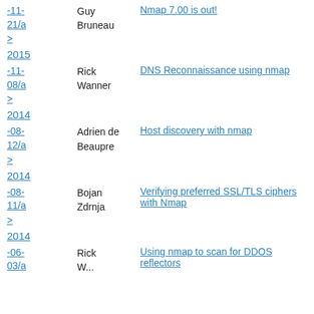-11-21/a > Guy Bruneau | Nmap 7.00 is out!
2015
-11-08/a > Rick Wanner | DNS Reconnaissance using nmap
2014
-08-12/a > Adrien de Beaupre | Host discovery with nmap
2014
-08-11/a > Bojan Zdrnja | Verifying preferred SSL/TLS ciphers with Nmap
2014
-06-03/a > Rick W... | Using nmap to scan for DDOS reflectors